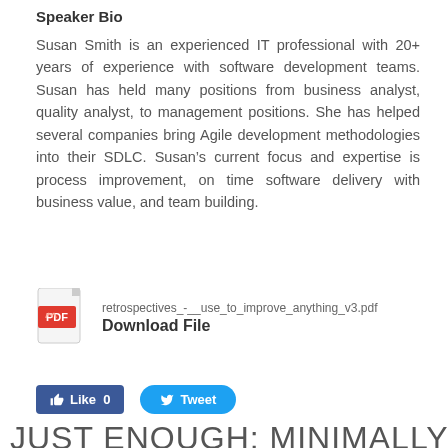Speaker Bio
Susan Smith is an experienced IT professional with 20+ years of experience with software development teams. Susan has held many positions from business analyst, quality analyst, to management positions. She has helped several companies bring Agile development methodologies into their SDLC. Susan’s current focus and expertise is process improvement, on time software delivery with business value, and team building.
[Figure (other): PDF file download link with Adobe PDF icon, filename retrospectives_-__use_to_improve_anything_v3.pdf and Download File label]
[Figure (other): Social media buttons: Like 0 (Facebook) and Tweet (Twitter)]
JUST ENOUGH: MINIMALLY